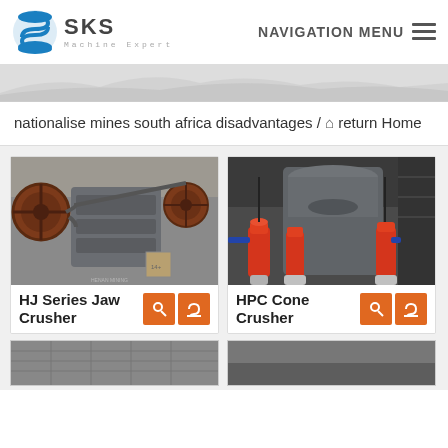[Figure (logo): SKS Machine Expert logo with blue circular emblem and text]
NAVIGATION MENU ☰
[Figure (photo): Gray banner/hero image background]
nationalise mines south africa disadvantages / ⌂ return Home
[Figure (photo): HJ Series Jaw Crusher - industrial gray jaw crusher machine in factory]
HJ Series Jaw Crusher
[Figure (photo): HPC Cone Crusher - industrial cone crusher with red hydraulic cylinders]
HPC Cone Crusher
[Figure (photo): Partial view of another industrial crusher machine - bottom left]
[Figure (photo): Partial view of another industrial machine - bottom right]